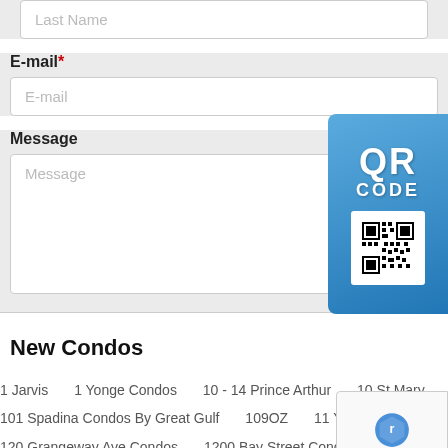Last Name
E-mail*
E-mail
Message
Message
[Figure (other): QR Code widget with blue background showing 'QR CODE' text and a QR code image]
New Condos
1 Jarvis   1 Yonge Condos   10 - 14 Prince Arthur   10 St Mary
101 Spadina Condos By Great Gulf   109OZ   11 YV Condos   CLL River...
120 Grangeway Ave Condos   1200 Bay Street Condos   121 East Townhome...
[Figure (other): Google reCAPTCHA badge with logo and Privacy - Terms text]